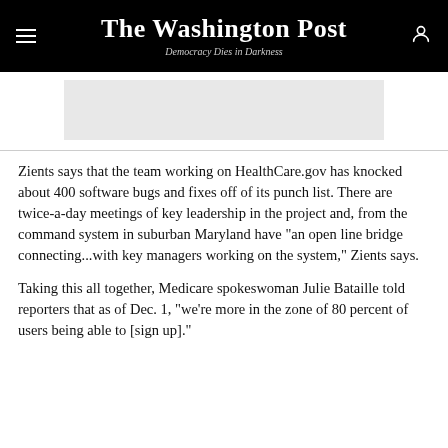The Washington Post — Democracy Dies in Darkness
[Figure (other): Advertisement banner placeholder (gray rectangle)]
Zients says that the team working on HealthCare.gov has knocked about 400 software bugs and fixes off of its punch list. There are twice-a-day meetings of key leadership in the project and, from the command system in suburban Maryland have "an open line bridge connecting...with key managers working on the system," Zients says.
Taking this all together, Medicare spokeswoman Julie Bataille told reporters that as of Dec. 1, "we're more in the zone of 80 percent of users being able to [sign up]."